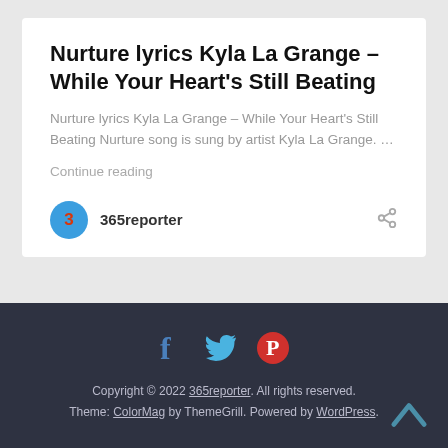Nurture lyrics Kyla La Grange – While Your Heart's Still Beating
Nurture lyrics Kyla La Grange – While Your Heart's Still Beating Nurture song is sung by artist Kyla La Grange. …
Continue reading
365reporter
Copyright © 2022 365reporter. All rights reserved. Theme: ColorMag by ThemeGrill. Powered by WordPress.